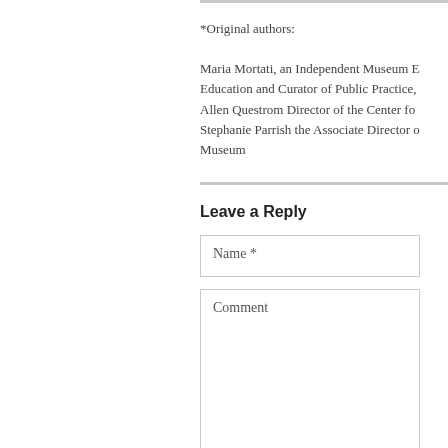*Original authors:

Maria Mortati, an Independent Museum E[ducation and Curator of Public Practice,] Allen Questrom Director of the Center fo[r...] Stephanie Parrish the Associate Director o[f the] Museum
Leave a Reply
Name *
Comment
E-Mail *